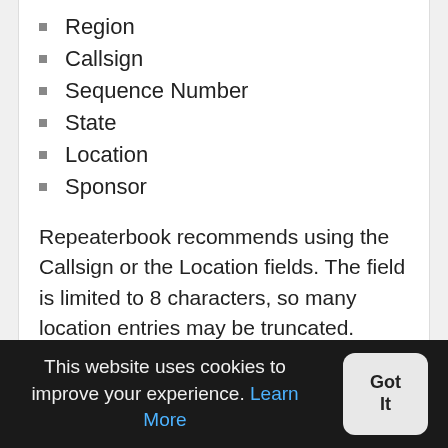Region
Callsign
Sequence Number
State
Location
Sponsor
Repeaterbook recommends using the Callsign or the Location fields. The field is limited to 8 characters, so many location entries may be truncated.
kenwood_mcp_2a.1605858782.txt.gz · Last modified: 2021/02/27 14:08 (external edit)
Except where otherwise noted, content on this wiki is licensed under the following license: Public Domain
This website uses cookies to improve your experience. Learn More